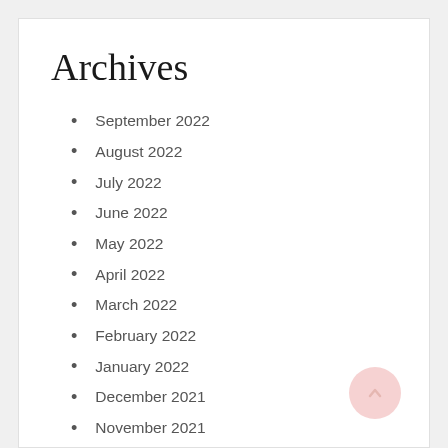Archives
September 2022
August 2022
July 2022
June 2022
May 2022
April 2022
March 2022
February 2022
January 2022
December 2021
November 2021
October 2021
September 2021
August 2021